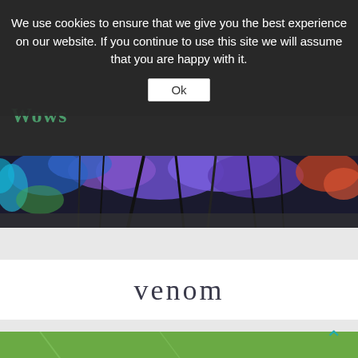We use cookies to ensure that we give you the best experience on our website. If you continue to use this site we will assume that you are happy with it.
Ok
Wows
[Figure (photo): Colorful artistic photo of trees with blue, purple, red, and teal foliage against dark branches]
venom
[Figure (photo): Close-up photo of a fuzzy woolly bear caterpillar (brown and orange fur) resting on a large green leaf]